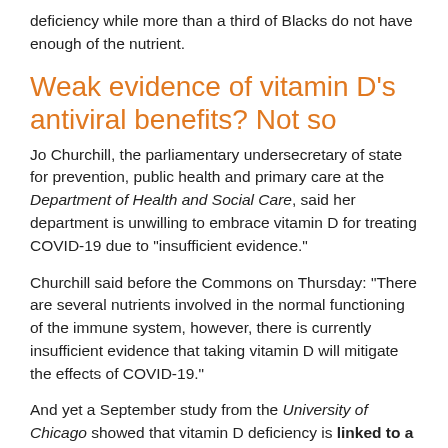deficiency while more than a third of Blacks do not have enough of the nutrient.
Weak evidence of vitamin D's antiviral benefits? Not so
Jo Churchill, the parliamentary undersecretary of state for prevention, public health and primary care at the Department of Health and Social Care, said her department is unwilling to embrace vitamin D for treating COVID-19 due to "insufficient evidence."
Churchill said before the Commons on Thursday: "There are several nutrients involved in the normal functioning of the immune system, however, there is currently insufficient evidence that taking vitamin D will mitigate the effects of COVID-19."
And yet a September study from the University of Chicago showed that vitamin D deficiency is linked to a greater likelihood of testing positive for the coronavirus. Another study, published November in the journal Nutrients, showed that regularly taking vitamin D supplements during the year before the COVID-19 pandemic was associated with less severe disease and a better chance of survival in the elderly than taking no vitamin D or taking it only after diagnosis.
In an October study, published in the Journal of Steroid